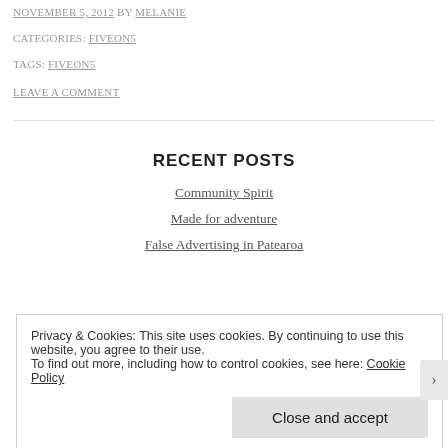NOVEMBER 5, 2012 BY MELANIE
CATEGORIES: FIVEON5
TAGS: FIVEON5
LEAVE A COMMENT
RECENT POSTS
Community Spirit
Made for adventure
False Advertising in Patearoa
Privacy & Cookies: This site uses cookies. By continuing to use this website, you agree to their use. To find out more, including how to control cookies, see here: Cookie Policy
Close and accept